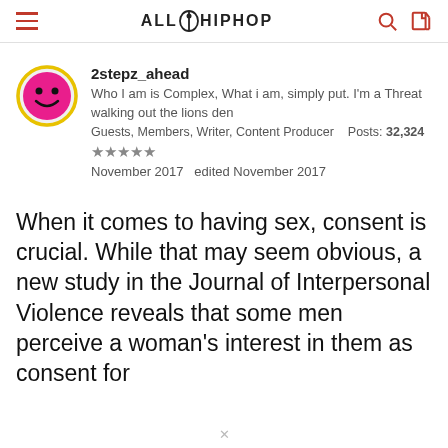AllHipHop
2stepz_ahead
Who I am is Complex, What i am, simply put. I'm a Threat walking out the lions den
Guests, Members, Writer, Content Producer  Posts: 32,324
★★★★★
November 2017  edited November 2017
When it comes to having sex, consent is crucial. While that may seem obvious, a new study in the Journal of Interpersonal Violence reveals that some men perceive a woman's interest in them as consent for